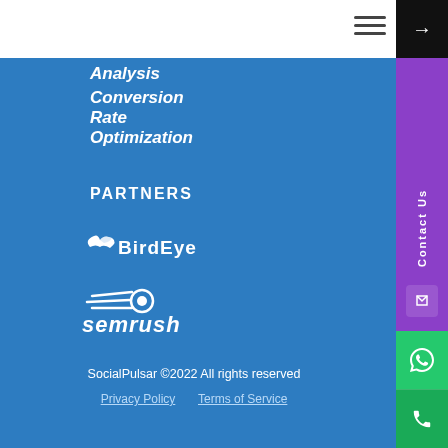SocialPulsar
Analysis
Conversion Rate Optimization
PARTNERS
[Figure (logo): BirdEye partner logo - white bird icon with BirdEye text]
[Figure (logo): SEMrush partner logo - comet/speed icon with semrush text]
SocialPulsar ©2022 All rights reserved
Privacy Policy   Terms of Service